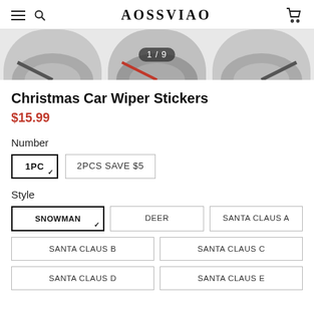AOSSVIAO
[Figure (photo): Product image strip showing three car wiper sticker images side by side, with a '1 / 9' counter badge overlaid on the center image]
Christmas Car Wiper Stickers
$15.99
Number
1PC (selected)
2PCS SAVE $5
Style
SNOWMAN (selected)
DEER
SANTA CLAUS A
SANTA CLAUS B
SANTA CLAUS C
SANTA CLAUS D
SANTA CLAUS E